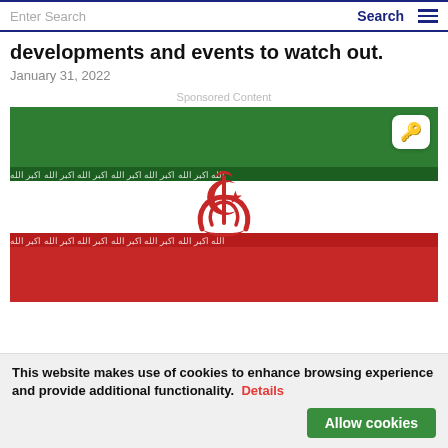Enter Search | Search
developments and events to watch out.
January 31, 2022
Sponsored Content
[Figure (photo): Flag of Iran — three horizontal bands: green (top), white (center with red emblem of Iran), red (bottom), with Arabic script border strips at the transitions. A key icon badge overlays the top-right corner.]
This website makes use of cookies to enhance browsing experience and provide additional functionality. Details | Allow cookies